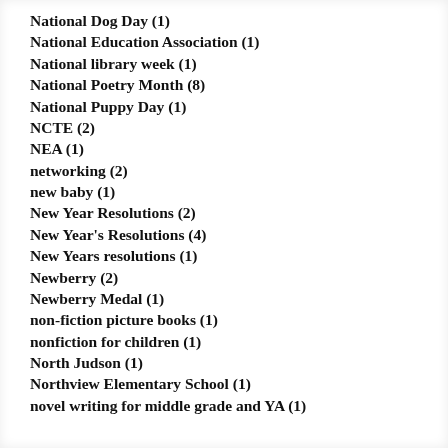National Dog Day (1)
National Education Association (1)
National library week (1)
National Poetry Month (8)
National Puppy Day (1)
NCTE (2)
NEA (1)
networking (2)
new baby (1)
New Year Resolutions (2)
New Year's Resolutions (4)
New Years resolutions (1)
Newberry (2)
Newberry Medal (1)
non-fiction picture books (1)
nonfiction for children (1)
North Judson (1)
Northview Elementary School (1)
novel writing for middle grade and YA (1)